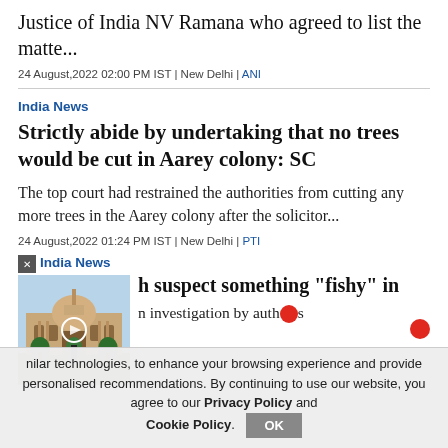Justice of India NV Ramana who agreed to list the matte...
24 August,2022 02:00 PM IST | New Delhi | ANI
India News
Strictly abide by undertaking that no trees would be cut in Aarey colony: SC
The top court had restrained the authorities from cutting any more trees in the Aarey colony after the solicitor...
24 August,2022 01:24 PM IST | New Delhi | PTI
India News
h suspect something "fishy" in
n investigation by auth...s
[Figure (photo): Photo of the Supreme Court of India building with dome and trees in foreground]
nilar technologies, to enhance your browsing experience and provide personalised recommendations. By continuing to use our website, you agree to our Privacy Policy and Cookie Policy.